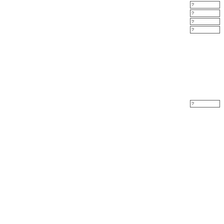| ? |
| ? |
| ? |
| ? |
M
a
o
h
W
c
w
b